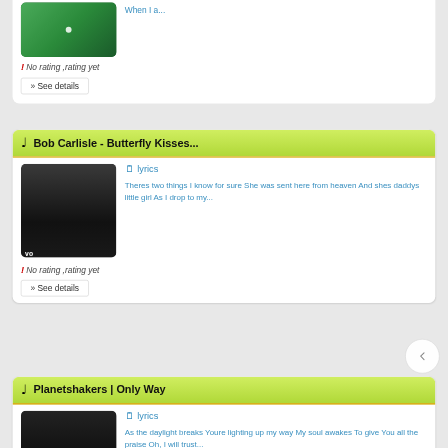When I a...
! No rating ,rating yet
» See details
Bob Carlisle - Butterfly Kisses...
lyrics
Theres two things I know for sure She was sent here from heaven And shes daddys little girl As I drop to my...
! No rating ,rating yet
» See details
Planetshakers | Only Way
lyrics
As the daylight breaks Youre lighting up my way My soul awakes To give You all the praise Oh, I will trust...